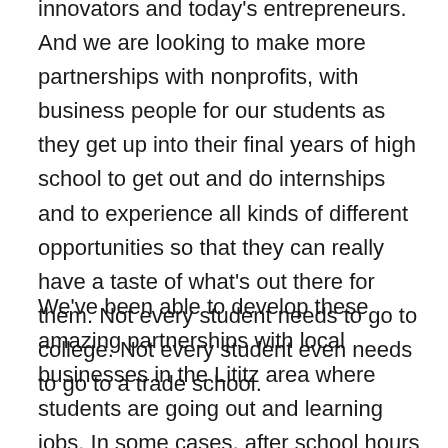innovators and today's entrepreneurs.  And we are looking to make more partnerships with nonprofits, with business people for our students as they get up into their final years of high school to get out and do internships and to experience all kinds of different opportunities so that they can really have a taste of what's out there for them.  Not every student needs to go to college.  Not every student even needs to go to a trade school.
We've been able to develop these amazing partnerships with local businesses in the Lititz area where students are going out and learning jobs.  In some cases, after school hours they're earning money doing those jobs.  And in some cases, the